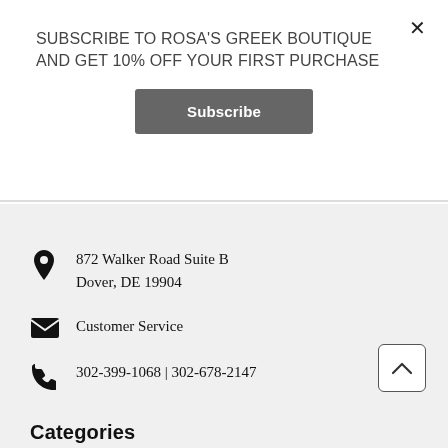SUBSCRIBE TO ROSA'S GREEK BOUTIQUE AND GET 10% OFF YOUR FIRST PURCHASE
Subscribe
872 Walker Road Suite B
Dover, DE 19904
Customer Service
302-399-1068 | 302-678-2147
Categories